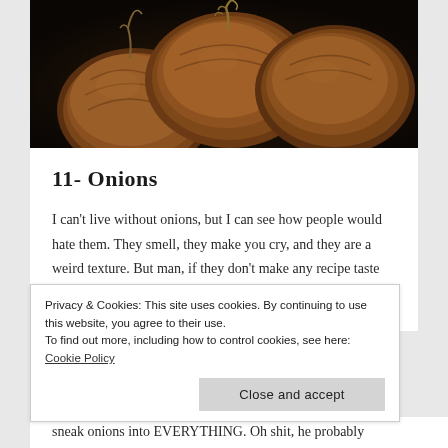[Figure (photo): Close-up photograph of three brown/golden onions against a dark background]
11- Onions
I can't live without onions, but I can see how people would hate them. They smell, they make you cry, and they are a weird texture. But man, if they don't make any recipe taste better in my humble opinion. Now, some people are half-way onion eaters. For example, my
Privacy & Cookies: This site uses cookies. By continuing to use this website, you agree to their use.
To find out more, including how to control cookies, see here: Cookie Policy
sneak onions into EVERYTHING. Oh shit, he probably